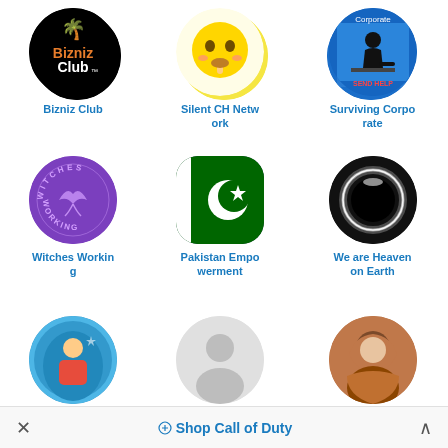[Figure (logo): Bizniz Club circular black logo with palm tree]
Bizniz Club
[Figure (illustration): Shushing emoji with finger to lips]
Silent CH Network
[Figure (illustration): Surviving Corporate - person kneeling at desk]
Surviving Corporate
[Figure (logo): Witches Working purple circular logo]
Witches Working
[Figure (illustration): Pakistan Empowerment - Pakistan flag icon rounded square]
Pakistan Empowerment
[Figure (photo): We are Heaven on Earth - black hole / dark circular photo]
We are Heaven on Earth
[Figure (photo): KIIN JALAQSAN - person with Somalia flag]
KIIN JALAQSAN
[Figure (illustration): Single Mom En - placeholder user silhouette]
Single Mom En
[Figure (photo): Shucaac Ku Fur - woman in hijab]
Shucaac Ku Fur
× Shop Call of Duty ^